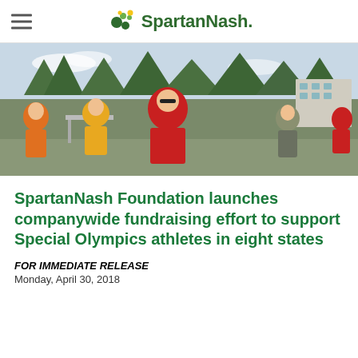SpartanNash
[Figure (photo): Several people running outdoors in athletic clothing (orange, yellow, red sweatshirt with Special Olympics Michigan logo) with trees and a building in the background.]
SpartanNash Foundation launches companywide fundraising effort to support Special Olympics athletes in eight states
FOR IMMEDIATE RELEASE
Monday, April 30, 2018